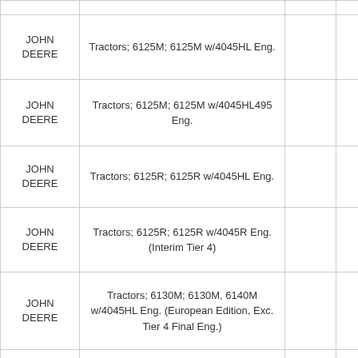| Manufacturer | Application |  |  |
| --- | --- | --- | --- |
| JOHN DEERE | Tractors; 6125M; 6125M w/4045HL Eng. |  |  |
| JOHN DEERE | Tractors; 6125M; 6125M w/4045HL495 Eng. |  |  |
| JOHN DEERE | Tractors; 6125R; 6125R w/4045HL Eng. |  |  |
| JOHN DEERE | Tractors; 6125R; 6125R w/4045R Eng. (Interim Tier 4) |  |  |
| JOHN DEERE | Tractors; 6130M; 6130M, 6140M w/4045HL Eng. (European Edition, Exc. Tier 4 Final Eng.) |  |  |
| JOHN DEERE | Tractors; 6130R; 6130R w/4045HL496 Eng. (European Edition) |  |  |
| JOHN DEERE | Tractors; 6140M (North America Edition); 6140M (North America Edition) w/4045HL496 (4.5L) Eng. |  |  |